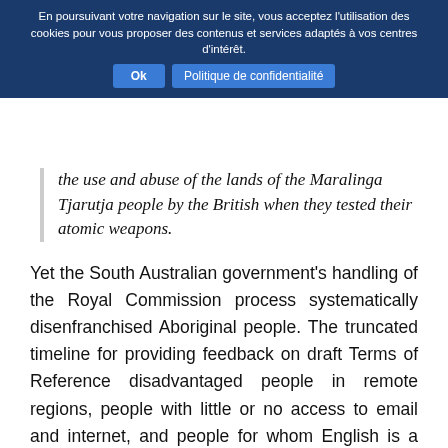En poursuivant votre navigation sur le site, vous acceptez l'utilisation des cookies pour vous proposer des contenus et services adaptés à vos centres d'intérêt. Ok Politique de confidentialité
the use and abuse of the lands of the Maralinga Tjarutja people by the British when they tested their atomic weapons.
Yet the South Australian government's handling of the Royal Commission process systematically disenfranchised Aboriginal people. The truncated timeline for providing feedback on draft Terms of Reference disadvantaged people in remote regions, people with little or no access to email and internet, and people for whom English is a second language. There was no translation of the draft Terms of Reference, and a regional